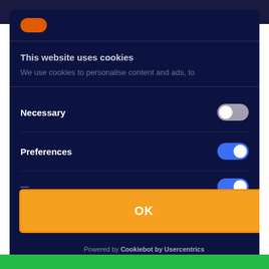[Figure (screenshot): Cookie consent modal overlay on a dark navy background website. Shows toggle switches for Necessary (gray/off), Preferences (blue/on), and a partially visible third option (blue/on). Has an orange OK button and Cookiebot by Usercentrics footer.]
This website uses cookies
We use cookies to personalise content and ads, to
Necessary
Preferences
OK
Powered by Cookiebot by Usercentrics